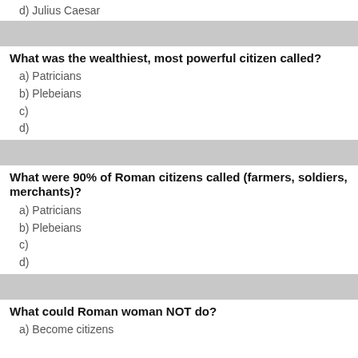d) Julius Caesar
What was the wealthiest, most powerful citizen called?
a) Patricians
b) Plebeians
c)
d)
What were 90% of Roman citizens called (farmers, soldiers, merchants)?
a) Patricians
b) Plebeians
c)
d)
What could Roman woman NOT do?
a) Become citizens